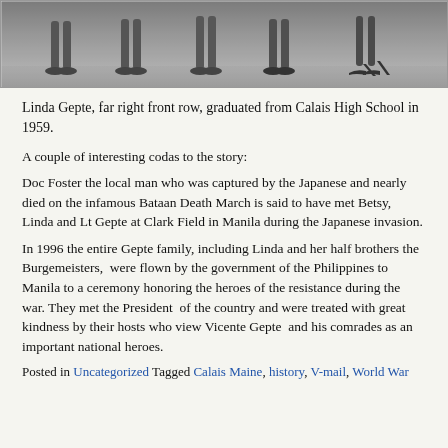[Figure (photo): Black and white photo showing the lower legs and feet of several people (women) standing in a row, wearing heels and dress shoes.]
Linda Gepte, far right front row, graduated from Calais High School in 1959.
A couple of interesting codas to the story:
Doc Foster the local man who was captured by the Japanese and nearly died on the infamous Bataan Death March is said to have met Betsy, Linda and Lt Gepte at Clark Field in Manila during the Japanese invasion.
In 1996 the entire Gepte family, including Linda and her half brothers the Burgemeisters,  were flown by the government of the Philippines to Manila to a ceremony honoring the heroes of the resistance during the war. They met the President  of the country and were treated with great kindness by their hosts who view Vicente Gepte  and his comrades as an important national heroes.
Posted in Uncategorized Tagged Calais Maine, history, V-mail, World War